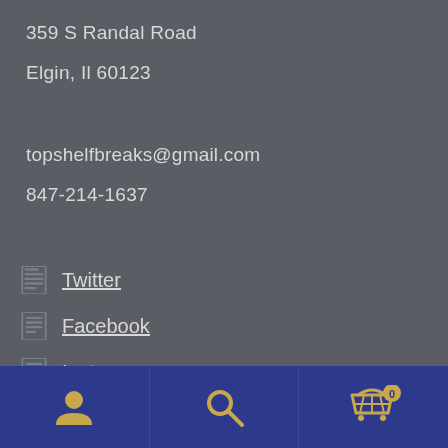359 S Randal Road
Elgin, Il 60123
topshelfbreaks@gmail.com
847-214-1637
Twitter
Facebook
Instagram
Navigation bar with user, search, and cart icons